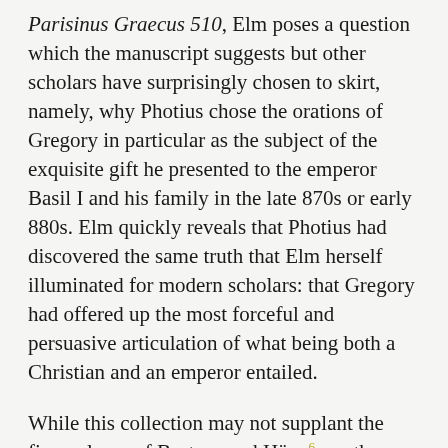Parisinus Graecus 510, Elm poses a question which the manuscript suggests but other scholars have surprisingly chosen to skirt, namely, why Photius chose the orations of Gregory in particular as the subject of the exquisite gift he presented to the emperor Basil I and his family in the late 870s or early 880s. Elm quickly reveals that Photius had discovered the same truth that Elm herself illuminated for modern scholars: that Gregory had offered up the most forceful and persuasive articulation of what being both a Christian and an emperor entailed.
While this collection may not supplant the fine volume of Børtnes and Hägg[6] nor the relevant articles in Hägg and Rousseau[7] (many of the